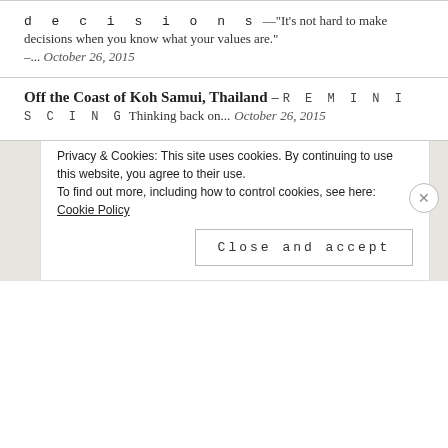d e c i s i o n s — "It's not hard to make decisions when you know what your values are." –... October 26, 2015
Off the Coast of Koh Samui, Thailand —REMINISCING Thinking back on... October 26, 2015
[Figure (photo): Circular cropped portrait photo of a person with dark hair, showing eyes and forehead area]
Privacy & Cookies: This site uses cookies. By continuing to use this website, you agree to their use. To find out more, including how to control cookies, see here: Cookie Policy
Close and accept